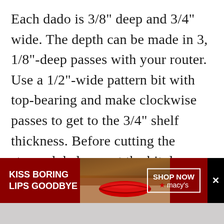Each dado is 3/8" deep and 3/4" wide. The depth can be made in 3, 1/8"-deep passes with your router. Use a 1/2"-wide pattern bit with top-bearing and make clockwise passes to get to the 3/4" shelf thickness. Before cutting the stopped dadoes, set the bit down close to the terminus of the dado and put a piece of painter's tape on the jig as a reminder to not go too far. After cutting all of the dadoes, square the ends of the stopped dadoes with a chisel, including the angled one.
[Figure (photo): Advertisement banner: Macy's lip color ad reading 'KISS BORING LIPS GOODBYE' with photo of woman with red lips and 'SHOP NOW ★ macy's' button, with a black close (X) button on the right.]